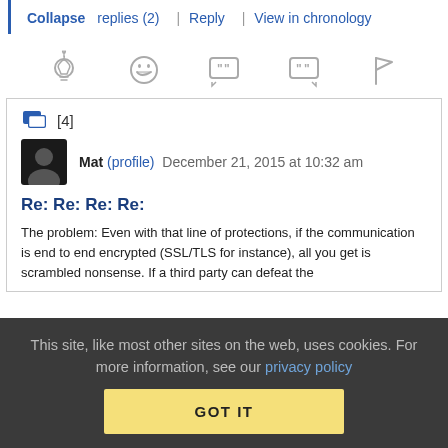Collapse replies (2) | Reply | View in chronology
[Figure (screenshot): Row of 5 reaction/action icons: lightbulb, laughing face, open quote bubble, close quote bubble, flag]
[4]
Mat (profile)  December 21, 2015 at 10:32 am
Re: Re: Re: Re:
The problem: Even with that line of protections, if the communication is end to end encrypted (SSL/TLS for instance), all you get is scrambled nonsense. If a third party can defeat the
This site, like most other sites on the web, uses cookies. For more information, see our privacy policy
GOT IT